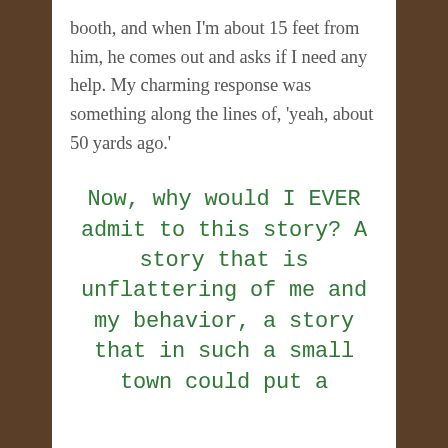booth, and when I'm about 15 feet from him, he comes out and asks if I need any help. My charming response was something along the lines of, 'yeah, about 50 yards ago.'
Now, why would I EVER admit to this story? A story that is unflattering of me and my behavior, a story that in such a small town could put a